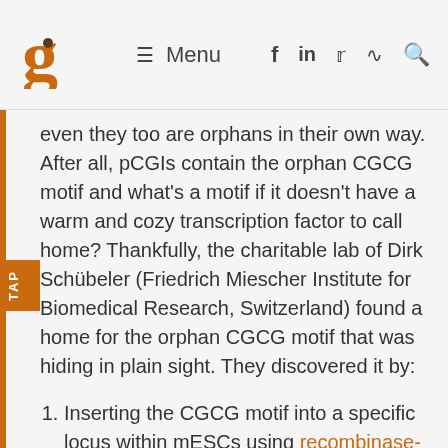≡ Menu  f  in  🐦  RSS  🔍
even they too are orphans in their own way. After all, pCGIs contain the orphan CGCG motif and what's a motif if it doesn't have a warm and cozy transcription factor to call home? Thankfully, the charitable lab of Dirk Schübeler (Friedrich Miescher Institute for Biomedical Research, Switzerland) found a home for the orphan CGCG motif that was hiding in plain sight. They discovered it by:
Inserting the CGCG motif into a specific locus within mESCs using recombinase-mediated cassette exchange (RMCE)
Employing their previously developed genome-wide single-molecule footprinting method that utilizes methyltransferase